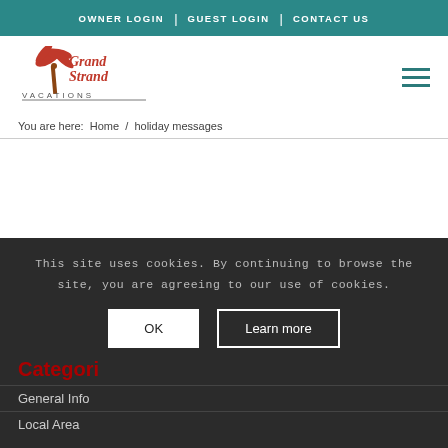OWNER LOGIN | GUEST LOGIN | CONTACT US
[Figure (logo): Grand Strand Vacations logo with palm tree icon and red text]
You are here:  Home  /  holiday messages
This site uses cookies. By continuing to browse the site, you are agreeing to our use of cookies.
OK   Learn more
Categori…
General Info
Local Area